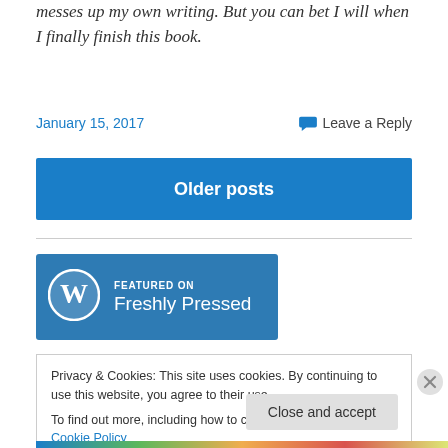messes up my own writing. But you can bet I will when I finally finish this book.
January 15, 2017
Leave a Reply
Older posts
[Figure (logo): Featured on Freshly Pressed badge with WordPress logo]
Privacy & Cookies: This site uses cookies. By continuing to use this website, you agree to their use.
To find out more, including how to control cookies, see here: Cookie Policy
Close and accept